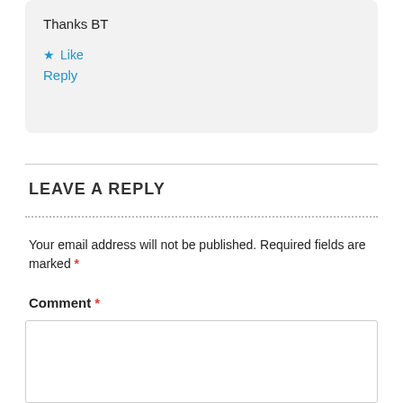Thanks BT
★ Like
Reply
LEAVE A REPLY
Your email address will not be published. Required fields are marked *
Comment *